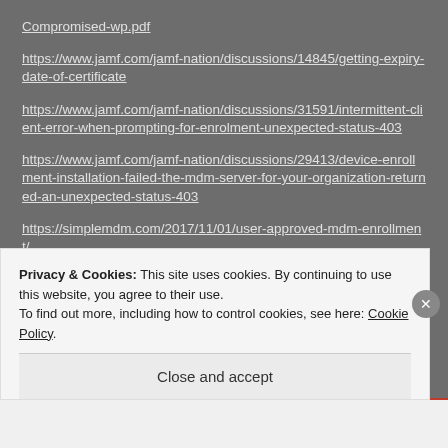Compromised-wp.pdf
https://www.jamf.com/jamf-nation/discussions/14845/getting-expiry-date-of-certificate
https://www.jamf.com/jamf-nation/discussions/31591/intermittent-client-error-when-prompting-for-enrolment-unexpected-status-403
https://www.jamf.com/jamf-nation/discussions/29413/device-enrollment-installation-failed-the-mdm-server-for-your-organization-returned-an-unexpected-status-403
https://simplemdm.com/2017/11/01/user-approved-mdm-enrollment/
Privacy & Cookies: This site uses cookies. By continuing to use this website, you agree to their use.
To find out more, including how to control cookies, see here: Cookie Policy.
Close and accept